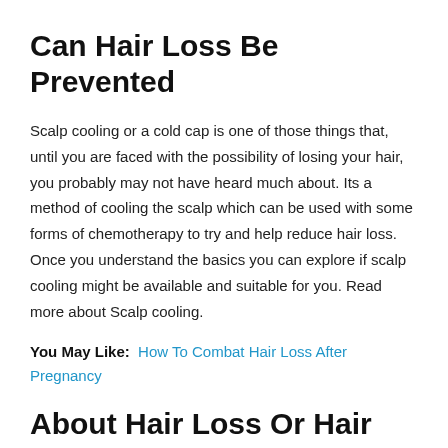Can Hair Loss Be Prevented
Scalp cooling or a cold cap is one of those things that, until you are faced with the possibility of losing your hair, you probably may not have heard much about. Its a method of cooling the scalp which can be used with some forms of chemotherapy to try and help reduce hair loss. Once you understand the basics you can explore if scalp cooling might be available and suitable for you. Read more about Scalp cooling.
You May Like: How To Combat Hair Loss After Pregnancy
About Hair Loss Or Hair Thinning